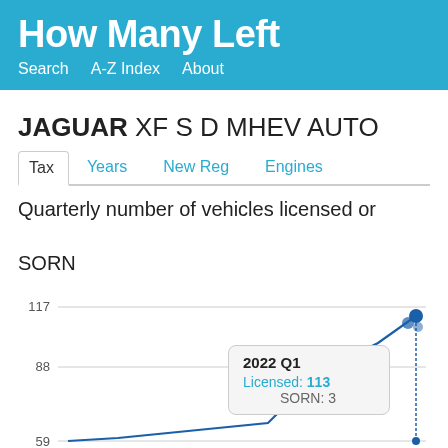How Many Left
Search   A-Z Index   About
JAGUAR XF S D MHEV AUTO
Tax | Years | New Reg | Engines
Quarterly number of vehicles licensed or SORN
[Figure (line-chart): Line chart showing quarterly licensed and SORN vehicle counts. Tooltip visible for 2022 Q1: Licensed 113, SORN 3. Y-axis gridlines at 59, 88, 117.]